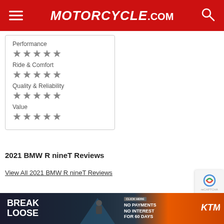Motorcycle.com
| Category | Rating |
| --- | --- |
| Performance | ★★★★★ |
| Ride & Comfort | ★★★★★ |
| Quality & Reliability | ★★★★★ |
| Value | ★★★★★ |
2021 BMW R nineT Reviews
View All 2021 BMW R nineT Reviews
[Figure (photo): 2021 BMW R nineT motorcycle side view]
[Figure (logo): reCAPTCHA badge]
[Figure (infographic): KTM advertisement: Break Loose - No Payments No Interest For 60 Days]